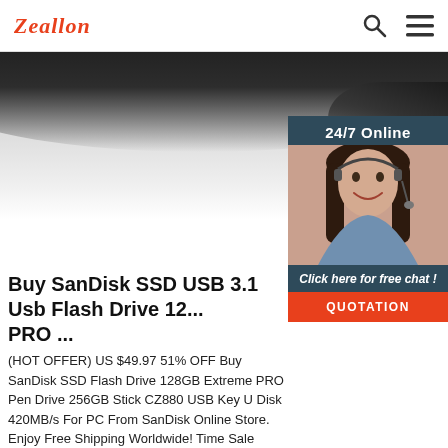Zeallon
[Figure (photo): Hero banner with dark curved object against grey/white gradient background, website header area]
[Figure (photo): 24/7 Online chat widget with photo of female customer service representative wearing headset, with 'Click here for free chat!' text and QUOTATION button]
Buy SanDisk SSD USB 3.1 Usb Flash Drive 12... PRO ...
(HOT OFFER) US $49.97 51% OFF Buy SanDisk SSD Flash Drive 128GB Extreme PRO Pen Drive 256GB Stick CZ880 USB Key U Disk 420MB/s For PC From SanDisk Online Store. Enjoy Free Shipping Worldwide! Time Sale Easy Return. Shop Quality & Best USB Flash Drives Directly From China USB Flash Drives Suppliers.
Get Price